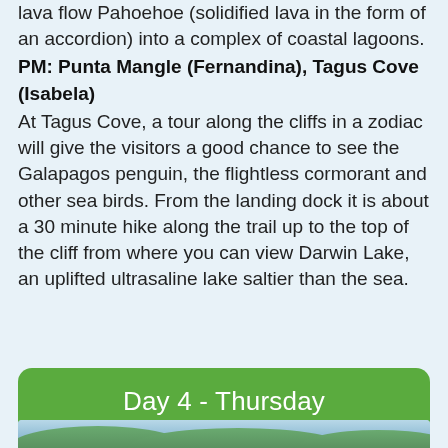lava flow Pahoehoe (solidified lava in the form of an accordion) into a complex of coastal lagoons.
PM: Punta Mangle (Fernandina), Tagus Cove (Isabela)
At Tagus Cove, a tour along the cliffs in a zodiac will give the visitors a good chance to see the Galapagos penguin, the flightless cormorant and other sea birds. From the landing dock it is about a 30 minute hike along the trail up to the top of the cliff from where you can view Darwin Lake, an uplifted ultrasaline lake saltier than the sea.
Day 4 - Thursday
[Figure (photo): Photograph partially visible at bottom of page, showing trees and sky, likely a Galapagos nature scene]